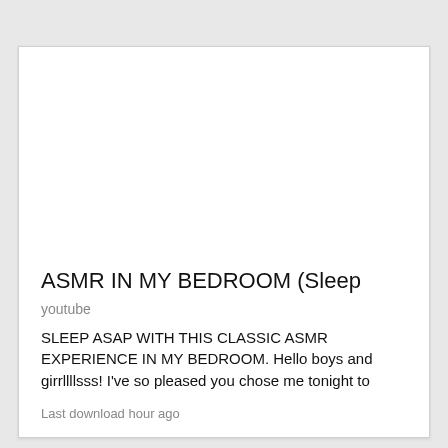[Figure (other): White blank image area inside a card]
ASMR IN MY BEDROOM (Sleep
youtube
SLEEP ASAP WITH THIS CLASSIC ASMR EXPERIENCE IN MY BEDROOM. Hello boys and girrllllsss! I've so pleased you chose me tonight to
Last download hour ago